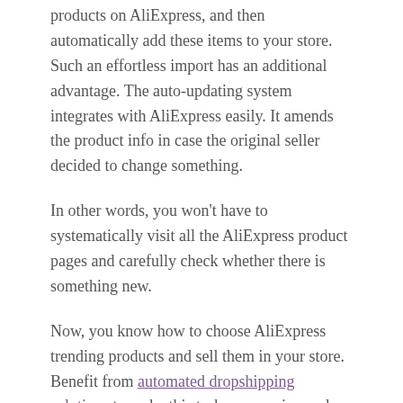products on AliExpress, and then automatically add these items to your store. Such an effortless import has an additional advantage. The auto-updating system integrates with AliExpress easily. It amends the product info in case the original seller decided to change something.
In other words, you won't have to systematically visit all the AliExpress product pages and carefully check whether there is something new.
Now, you know how to choose AliExpress trending products and sell them in your store. Benefit from automated dropshipping solutions to make this task even easier, and enjoy your fruitful business!
Read the source: https://alidropship.com/how-to-find-the-perfect-drop-shipping-products-on-aliexpress/